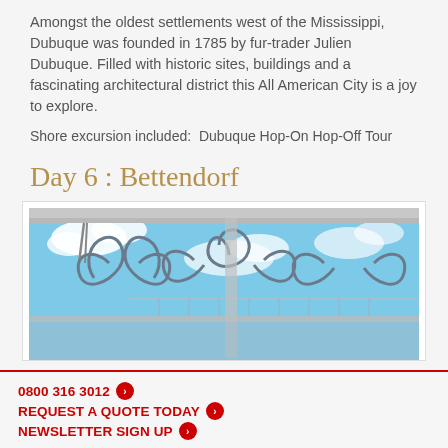Amongst the oldest settlements west of the Mississippi, Dubuque was founded in 1785 by fur-trader Julien Dubuque. Filled with historic sites, buildings and a fascinating architectural district this All American City is a joy to explore.
Shore excursion included:  Dubuque Hop-On Hop-Off Tour
Day 6 : Bettendorf
[Figure (photo): View from a riverboat deck showing decorative wrought iron railings with scroll designs against a blue sky with clouds and a bridge visible in the background]
0800 316 3012
REQUEST A QUOTE TODAY
NEWSLETTER SIGN UP